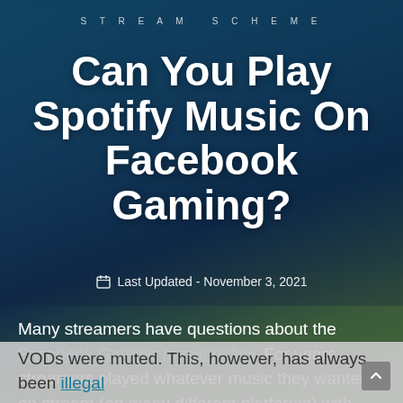STREAM SCHEME
Can You Play Spotify Music On Facebook Gaming?
Last Updated - November 3, 2021
Many streamers have questions about the Facebook Gaming music policy. For years, streamers played whatever music they wanted on stream (on many different platforms) with little or no consequences for their actions. In fact, the worst consequence was that VODs were muted. This, however, has always been illegal